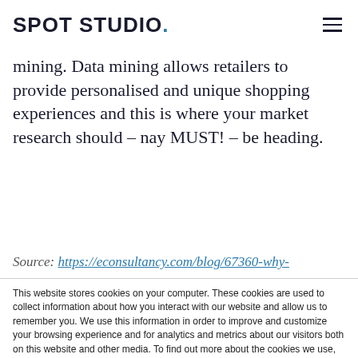SPOT STUDIO.
mining. Data mining allows retailers to provide personalised and unique shopping experiences and this is where your market research should – nay MUST! – be heading.
Source: https://econsultancy.com/blog/67360-why-
This website stores cookies on your computer. These cookies are used to collect information about how you interact with our website and allow us to remember you. We use this information in order to improve and customize your browsing experience and for analytics and metrics about our visitors both on this website and other media. To find out more about the cookies we use, see our Privacy Policy.